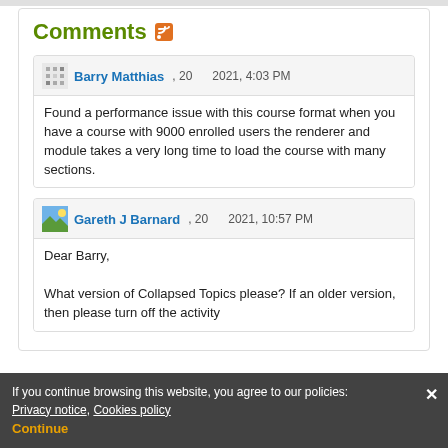Comments
Barry Matthias , 20 2021, 4:03 PM
Found a performance issue with this course format when you have a course with 9000 enrolled users the renderer and module takes a very long time to load the course with many sections.
Gareth J Barnard , 20 2021, 10:57 PM
Dear Barry,

What version of Collapsed Topics please? If an older version, then please turn off the activity information stuff / consider upgrading. If the current, i.e. 3.1... just turn off the activity information stuff. Either way, I need the version information please.
If you continue browsing this website, you agree to our policies: Privacy notice, Cookies policy Continue